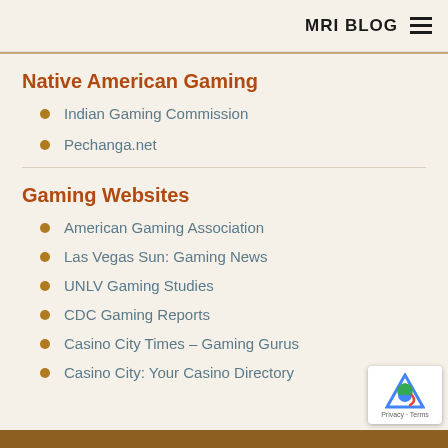MRI BLOG
Native American Gaming
Indian Gaming Commission
Pechanga.net
Gaming Websites
American Gaming Association
Las Vegas Sun: Gaming News
UNLV Gaming Studies
CDC Gaming Reports
Casino City Times – Gaming Gurus
Casino City: Your Casino Directory